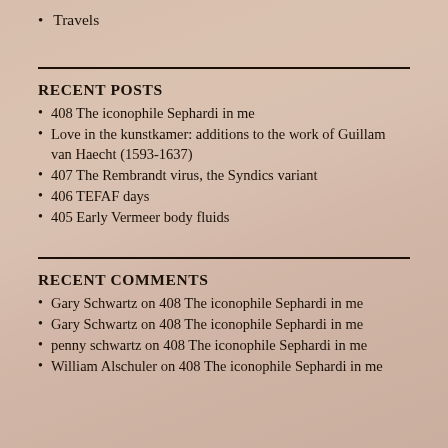Travels
RECENT POSTS
408 The iconophile Sephardi in me
Love in the kunstkamer: additions to the work of Guillam van Haecht (1593-1637)
407 The Rembrandt virus, the Syndics variant
406 TEFAF days
405 Early Vermeer body fluids
RECENT COMMENTS
Gary Schwartz on 408 The iconophile Sephardi in me
Gary Schwartz on 408 The iconophile Sephardi in me
penny schwartz on 408 The iconophile Sephardi in me
William Alschuler on 408 The iconophile Sephardi in me